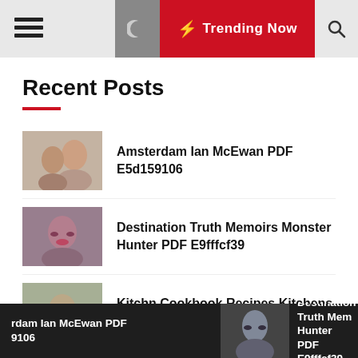≡ [moon] ⚡ Trending Now [search]
Recent Posts
Amsterdam Ian McEwan PDF E5d159106
Destination Truth Memoirs Monster Hunter PDF E9fffcf39
Kitchn Cookbook Recipes Kitchens Inspire PDF 11852eda0
rdam Ian McEwan PDF 9106  |  [image]  |  Destination Truth Mem Hunter PDF E9fffcf39